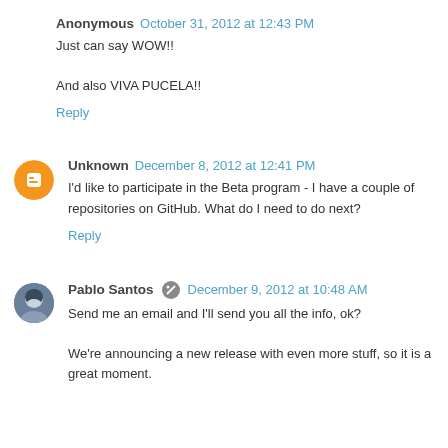Anonymous   October 31, 2012 at 12:43 PM
Just can say WOW!!

And also VIVA PUCELA!!
Reply
Unknown   December 8, 2012 at 12:41 PM
I'd like to participate in the Beta program - I have a couple of repositories on GitHub. What do I need to do next?
Reply
Pablo Santos   December 9, 2012 at 10:48 AM
Send me an email and I'll send you all the info, ok?

We're announcing a new release with even more stuff, so it is a great moment.